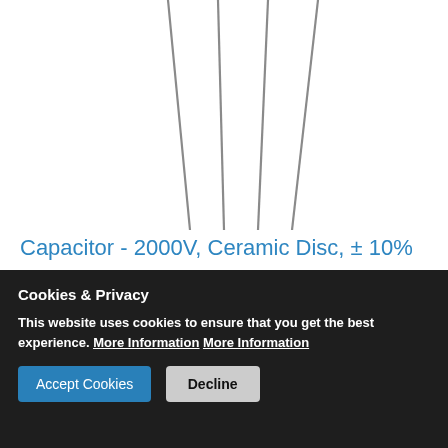[Figure (photo): Photo of ceramic disc capacitors with lead wires extending upward, shown against a white background.]
Capacitor - 2000V, Ceramic Disc, ± 10%
Ceramic disc capacitors rated for up to 2kV, ± 10% tolerance.
Cookies & Privacy
This website uses cookies to ensure that you get the best experience. More Information More Information